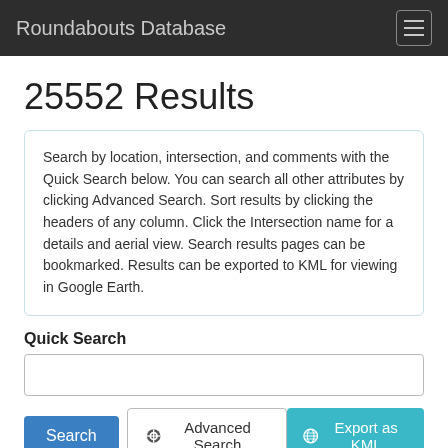Roundabouts Database
25552 Results
Search by location, intersection, and comments with the Quick Search below. You can search all other attributes by clicking Advanced Search. Sort results by clicking the headers of any column. Click the Intersection name for a details and aerial view. Search results pages can be bookmarked. Results can be exported to KML for viewing in Google Earth.
Quick Search
« ‹ 1 2 3 ... 214 215 216 217